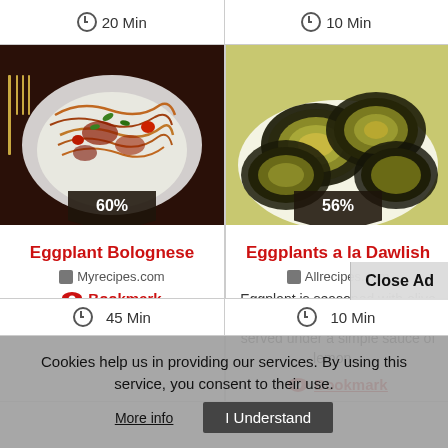20 Min
10 Min
[Figure (photo): Eggplant Bolognese pasta dish with red sauce and green herbs on a white plate, with fork on left side. Shows 60% badge.]
[Figure (photo): Grilled eggplant slices arranged on a white plate. Shows 56% badge.]
Eggplant Bolognese
Myrecipes.com
Bookmark
Eggplants a la Dawlish
Allrecipes.com
Eggplant is seasoned with olive oil and coriander, broiled, and served under a simple sauce of lemon...
Bookmark
45 Min
10 Min
Close Ad
Cookies help us in providing our services. By using this service, you consent to their use.
More info
I Understand